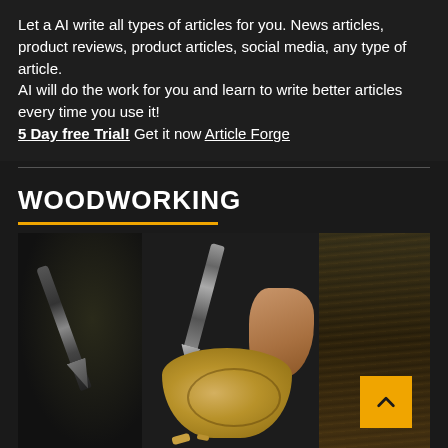Let a AI write all types of articles for you. News articles, product reviews, product articles, social media, any type of article.
AI will do the work for you and learn to write better articles every time you use it!
5 Day free Trial! Get it now Article Forge
WOODWORKING
[Figure (photo): Person carving a wood block with a chisel tool, wood shavings visible, dark background]